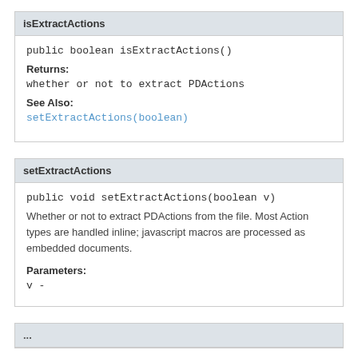isExtractActions
Returns:
whether or not to extract PDActions
See Also:
setExtractActions(boolean)
setExtractActions
Whether or not to extract PDActions from the file. Most Action types are handled inline; javascript macros are processed as embedded documents.
Parameters:
v -
...